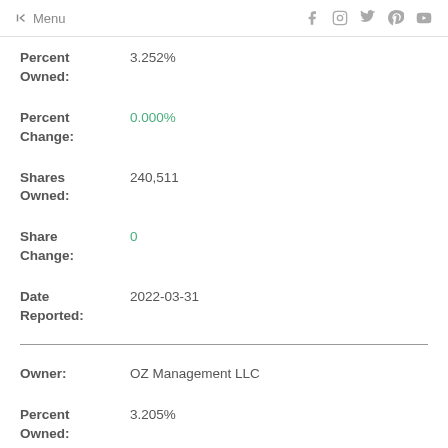← Menu
Percent Owned: 3.252%
Percent Change: 0.000%
Shares Owned: 240,511
Share Change: 0
Date Reported: 2022-03-31
Owner: OZ Management LLC
Percent Owned: 3.205%
Percent Change: 0.000%